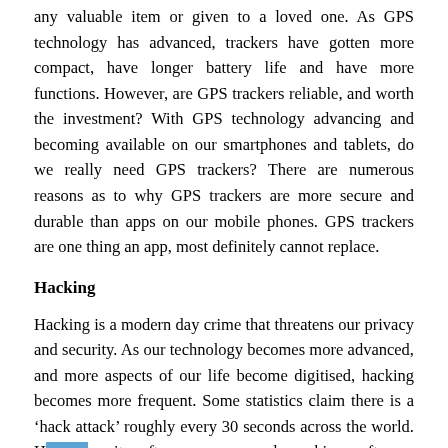any valuable item or given to a loved one. As GPS technology has advanced, trackers have gotten more compact, have longer battery life and have more functions. However, are GPS trackers reliable, and worth the investment? With GPS technology advancing and becoming available on our smartphones and tablets, do we really need GPS trackers? There are numerous reasons as to why GPS trackers are more secure and durable than apps on our mobile phones. GPS trackers are one thing an app, most definitely cannot replace.
Hacking
Hacking is a modern day crime that threatens our privacy and security. As our technology becomes more advanced, and more aspects of our life become digitised, hacking becomes more frequent. Some statistics claim there is a 'hack attack' roughly every 30 seconds across the world. Hackers quite often use password cracking software, which scans a